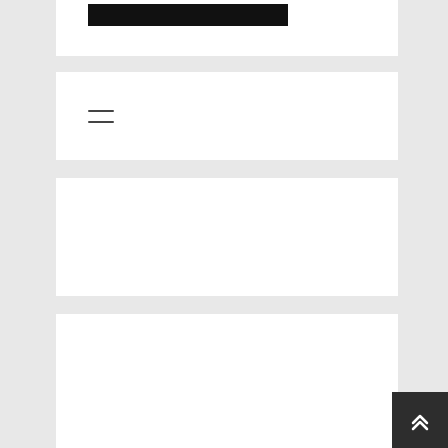[Figure (photo): Dark/black rectangular image banner at the top of the page inside a white card]
[Figure (illustration): Hamburger menu icon (three horizontal lines) in a white card]
[Figure (other): Empty white card block]
[Figure (other): Empty white card block]
ARCHIVES
October 2021
[Figure (other): Scroll-to-top button (dark background with double up-arrow chevron) at bottom-right]